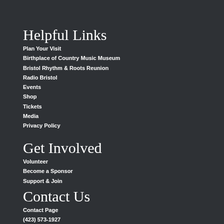Helpful Links
Plan Your Visit
Birthplace of Country Music Museum
Bristol Rhythm & Roots Reunion
Radio Bristol
Events
Shop
Tickets
Media
Privacy Policy
Get Involved
Volunteer
Become a Sponsor
Support & Join
Contact Us
Contact Page
(423) 573-1927
101 Country Music Way